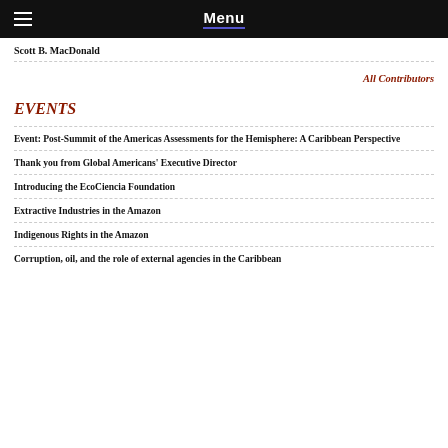Menu
Scott B. MacDonald
All Contributors
EVENTS
Event: Post-Summit of the Americas Assessments for the Hemisphere: A Caribbean Perspective
Thank you from Global Americans' Executive Director
Introducing the EcoCiencia Foundation
Extractive Industries in the Amazon
Indigenous Rights in the Amazon
Corruption, oil, and the role of external agencies in the Caribbean